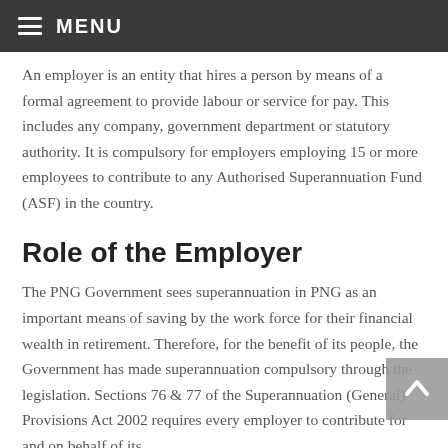≡ MENU
An employer is an entity that hires a person by means of a formal agreement to provide labour or service for pay. This includes any company, government department or statutory authority. It is compulsory for employers employing 15 or more employees to contribute to any Authorised Superannuation Fund (ASF) in the country.
Role of the Employer
The PNG Government sees superannuation in PNG as an important means of saving by the work force for their financial wealth in retirement. Therefore, for the benefit of its people, the Government has made superannuation compulsory through the legislation. Sections 76 & 77 of the Superannuation (General) Provisions Act 2002 requires every employer to contribute for and on behalf of its